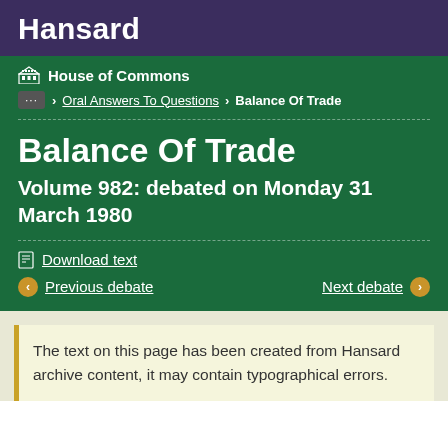Hansard
House of Commons
… > Oral Answers To Questions > Balance Of Trade
Balance Of Trade
Volume 982: debated on Monday 31 March 1980
Download text
Previous debate
Next debate
The text on this page has been created from Hansard archive content, it may contain typographical errors.